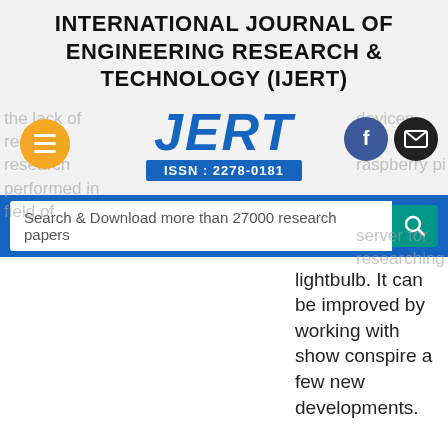INTERNATIONAL JOURNAL OF ENGINEERING RESEARCH & TECHNOLOGY (IJERT)
[Figure (logo): IJERT logo with ISSN: 2278-0181, menu button (orange), Facebook and email social buttons]
Search & Download more than 27000 research papers
lightbulb. It can be improved by working with show conspire a few new developments.
transmitting data to the client.
In Smart Villages, access to maintainable vitality